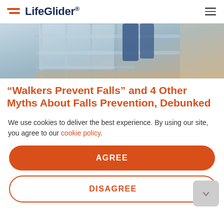LifeGlider®
[Figure (photo): Photo showing a person's legs/lower body on a staircase with metal railings, likely in a healthcare or residential setting]
“Walkers Prevent Falls” and 4 Other Myths About Falls Prevention, Debunked
We use cookies to deliver the best experience. By using our site, you agree to our cookie policy.
AGREE
DISAGREE